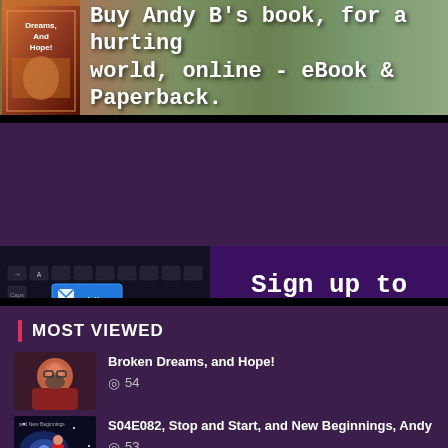[Figure (illustration): Book banner for 'Broken Dreams, and Hope!' with book cover image on left and text 'Buy Andy B's book, for a hurting world, online - eBook & Paperback.' on right over outdoor background]
[Figure (illustration): Newsletter sign-up banner with keyboard image featuring blue Newsletter key on left and purple background with text 'Sign up to the Berry Bytes newsletter' on right]
MOST VIEWED
[Figure (photo): Thumbnail of bearded man with glasses for 'Broken Dreams, and Hope!']
Broken Dreams, and Hope!
54
[Figure (photo): Thumbnail for 'S04E082, Stop and Start, and New Beginnings, Andy']
S04E082, Stop and Start, and New Beginnings, Andy
53
[Figure (photo): Thumbnail for 'S04E079, The blinking cursor of possibilities, Andy B']
S04E079, The blinking cursor of possibilities, Andy B